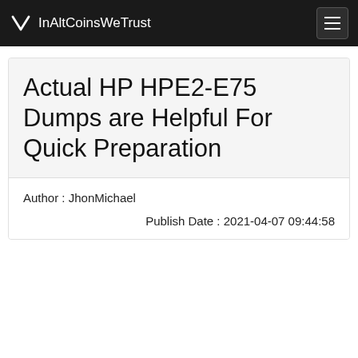InAltCoinsWeTrust
Actual HP HPE2-E75 Dumps are Helpful For Quick Preparation
Author : JhonMichael
Publish Date : 2021-04-07 09:44:58